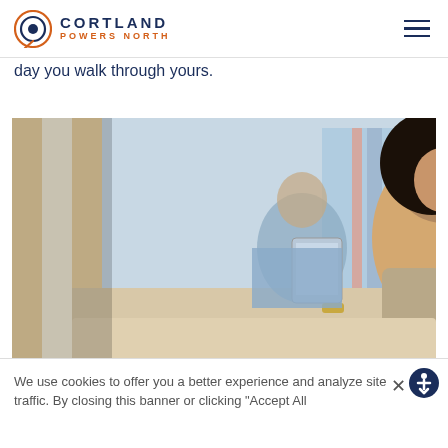CORTLAND POWERS NORTH
day you walk through yours.
[Figure (photo): A couple relaxing on a couch; a woman in the foreground holds a tablet and looks toward camera, a man sits in the background.]
We use cookies to offer you a better experience and analyze site traffic. By closing this banner or clicking "Accept All